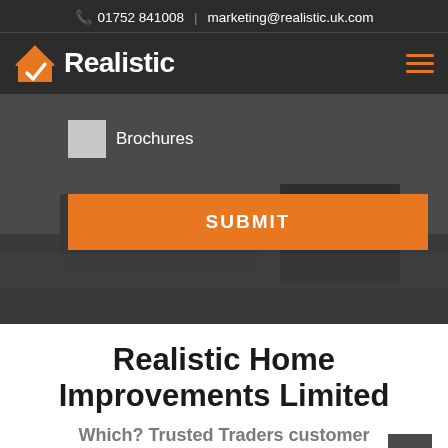📞 01752 841008  |  marketing@realistic.uk.com
[Figure (logo): Realistic logo: orange house icon with white checkmark, followed by bold white text 'Realistic']
[Figure (screenshot): Hero background image: dark blurred photo of a table/furniture in a room. Overlaid: a checkbox form row labeled 'Brochures' and an orange SUBMIT button.]
Realistic Home Improvements Limited
Which? Trusted Traders customer reviews summary